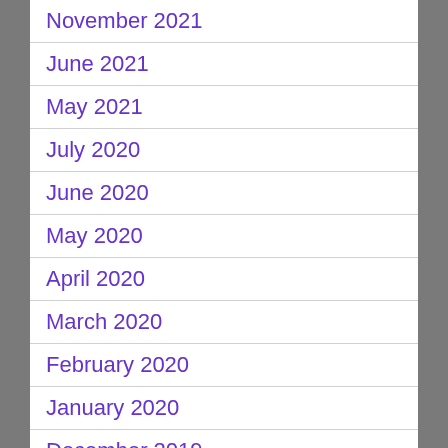November 2021
June 2021
May 2021
July 2020
June 2020
May 2020
April 2020
March 2020
February 2020
January 2020
December 2019
November 2019
October 2019